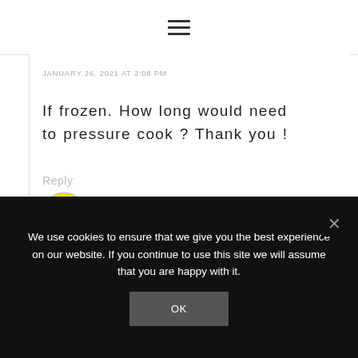☰
JANUARY 26, 2021 AT 2:08 PM
If frozen. How long would need to pressure cook ? Thank you !
Reply
[Figure (photo): Yellow circular avatar/emoji face icon]
We use cookies to ensure that we give you the best experience on our website. If you continue to use this site we will assume that you are happy with it.
OK